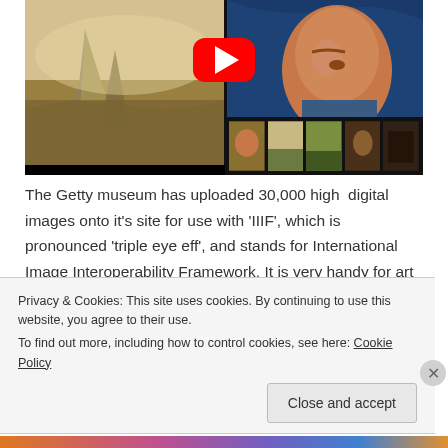[Figure (screenshot): A YouTube video thumbnail showing two paintings side by side — a maritime scene on the left and Van Gogh's self-portrait on the right — with a red YouTube play button overlay. A row of small thumbnail images appears at the bottom right.]
The Getty museum has uploaded 30,000 high  digital images onto it's site for use with 'IIIF', which is pronounced 'triple eye eff', and stands for International Image Interoperability Framework. It is very handy for art lovers because it allows you to compare on a single screen digital images of works
Privacy & Cookies: This site uses cookies. By continuing to use this website, you agree to their use.
To find out more, including how to control cookies, see here: Cookie Policy
Close and accept